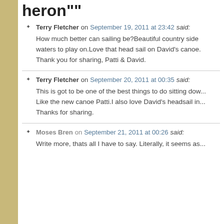heron""
Terry Fletcher on September 19, 2011 at 23:42 said: How much better can sailing be?Beautiful country side waters to play on.Love that head sail on David's canoe. Thank you for sharing, Patti & David.
Terry Fletcher on September 20, 2011 at 00:35 said: This is got to be one of the best things to do sitting dow... Like the new canoe Patti.I also love David's headsail in... Thanks for sharing.
Moses Bren on September 21, 2011 at 00:26 said: Write more, thats all I have to say. Literally, it seems as...